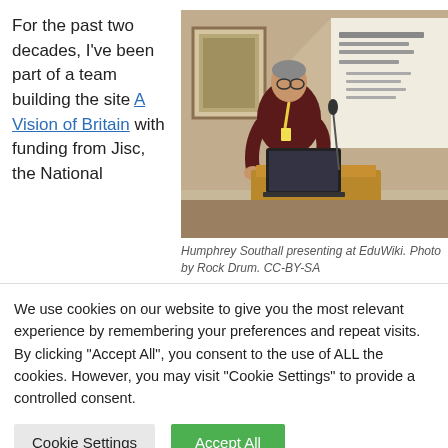For the past two decades, I've been part of a team building the site A Vision of Britain with funding from Jisc, the National
[Figure (photo): Humphrey Southall presenting at a podium with a laptop, in front of a projected presentation screen, at EduWiki conference.]
Humphrey Southall presenting at EduWiki. Photo by Rock Drum. CC-BY-SA
We use cookies on our website to give you the most relevant experience by remembering your preferences and repeat visits. By clicking "Accept All", you consent to the use of ALL the cookies. However, you may visit "Cookie Settings" to provide a controlled consent.